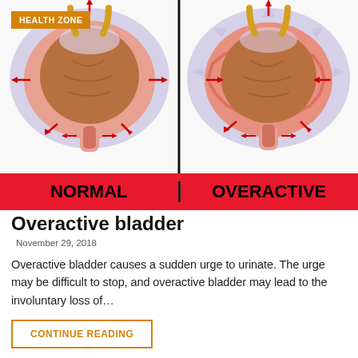[Figure (illustration): Side-by-side anatomical cross-section illustrations of a normal bladder (left) and an overactive bladder (right), with red arrows showing muscle contractions. A vertical black dividing line separates the two images. A gold 'HEALTH ZONE' badge is overlaid on the top-left corner.]
NORMAL   OVERACTIVE
Overactive bladder
November 29, 2018
Overactive bladder causes a sudden urge to urinate. The urge may be difficult to stop, and overactive bladder may lead to the involuntary loss of…
CONTINUE READING